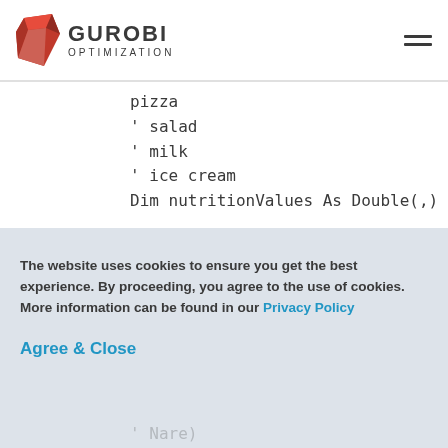GUROBI OPTIMIZATION
pizza
' salad
' milk
' ice cream
Dim nutritionValues As Double(,)
The website uses cookies to ensure you get the best experience. By proceeding, you agree to the use of cookies. More information can be found in our Privacy Policy
Agree & Close
' Nare)